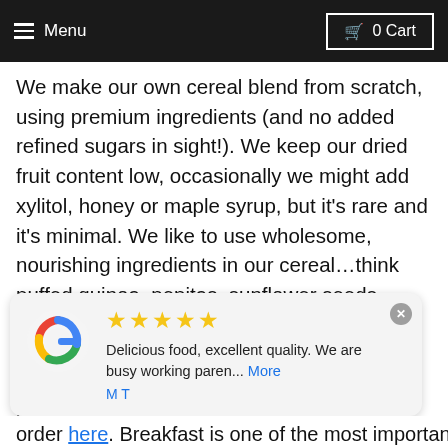Menu   0 Cart
We make our own cereal blend from scratch, using premium ingredients (and no added refined sugars in sight!). We keep our dried fruit content low, occasionally we might add xylitol, honey or maple syrup, but it's rare and it's minimal. We like to use wholesome, nourishing ingredients in our cereal…think puffed quinoa, pepitas, sunflower seeds, shaved coconut and freeze dried fruit, just to name a few! We are constantly creating new cereal blends with different and exciting ingredients to add variation so that you're never bored…which we believe is essential for an enjoyable, yummy breakfast!
[Figure (other): Google review card showing 5 gold stars, review text 'Delicious food, excellent quality. We are busy working paren... More' by reviewer M T, with Google logo]
order here. Breakfast is one of the most important...